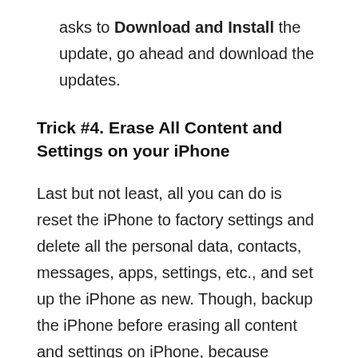asks to Download and Install the update, go ahead and download the updates.
Trick #4. Erase All Content and Settings on your iPhone
Last but not least, all you can do is reset the iPhone to factory settings and delete all the personal data, contacts, messages, apps, settings, etc., and set up the iPhone as new. Though, backup the iPhone before erasing all content and settings on iPhone, because without backup, if you erase all content and settings, there's no easy way to recover the